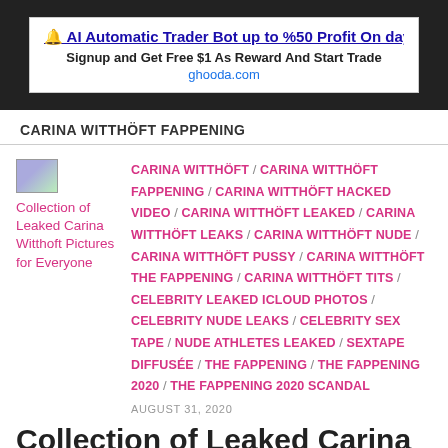[Figure (other): Advertisement banner: AI Automatic Trader Bot up to %50 Profit On day. Signup and Get Free $1 As Reward And Start Trade. ghooda.com]
CARINA WITTHÖFT FAPPENING
[Figure (other): Broken image thumbnail for Collection of Leaked Carina Witthoft Pictures for Everyone]
Collection of Leaked Carina Witthoft Pictures for Everyone
CARINA WITTHÖFT / CARINA WITTHÖFT FAPPENING / CARINA WITTHÖFT HACKED VIDEO / CARINA WITTHÖFT LEAKED / CARINA WITTHÖFT LEAKS / CARINA WITTHÖFT NUDE / CARINA WITTHÖFT PUSSY / CARINA WITTHÖFT THE FAPPENING / CARINA WITTHÖFT TITS / CELEBRITY LEAKED ICLOUD PHOTOS / CELEBRITY NUDE LEAKS / CELEBRITY SEX TAPE / NUDE ATHLETES LEAKED / SEXTAPE DIFFUSÉE / THE FAPPENING / THE FAPPENING 2020 / THE FAPPENING 2020 SCANDAL
AUGUST 31, 2020
Collection of Leaked Carina